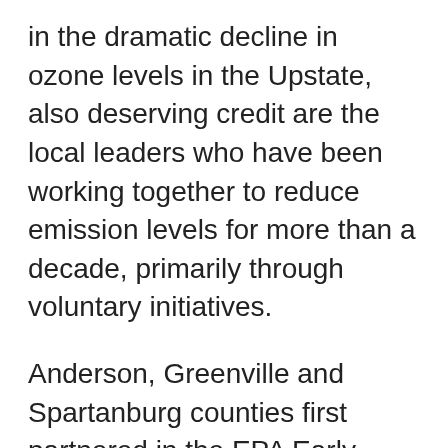in the dramatic decline in ozone levels in the Upstate, also deserving credit are the local leaders who have been working together to reduce emission levels for more than a decade, primarily through voluntary initiatives.
Anderson, Greenville and Spartanburg counties first partnered in the EPA Early Action Compact process in 2002 and were soon joined by other Upstate counties along with public, private and non-profit organizations, businesses and industries. This regional effort led to the Upstate remaining within compliance of the standards at that